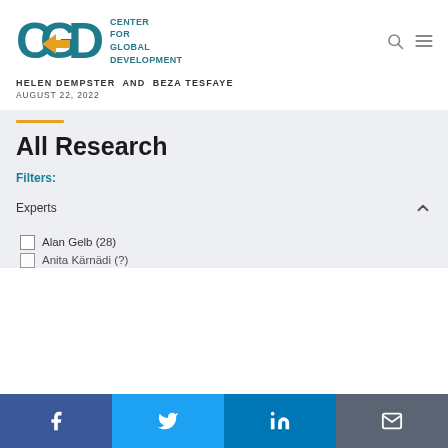[Figure (logo): Center for Global Development (CGD) logo — teal CGD letters with yellow arrow accent, followed by stacked text CENTER FOR GLOBAL DEVELOPMENT]
HELEN DEMPSTER  AND  BEZA TESFAYE
AUGUST 22, 2022
All Research
Filters:
Experts
Alan Gelb (28)
Anita Kärnädi (?)
Social share bar: Facebook, Twitter, LinkedIn, Email